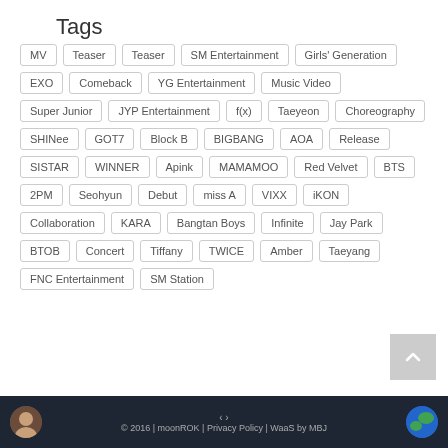Tags
MV
Teaser
Teaser
SM Entertainment
Girls' Generation
EXO
Comeback
YG Entertainment
Music Video
Super Junior
JYP Entertainment
f(x)
Taeyeon
Choreography
SHINee
GOT7
Block B
BIGBANG
AOA
Release
SISTAR
WINNER
Apink
MAMAMOO
Red Velvet
BTS
2PM
Seohyun
Debut
miss A
VIXX
iKON
Collaboration
KARA
Bangtan Boys
Infinite
Jay Park
BTOB
Concert
Tiffany
TWICE
Amber
Taeyang
FNC Entertainment
SM Station
© 2016 | moonROK | Privacy Policy | WaaS by MBJ